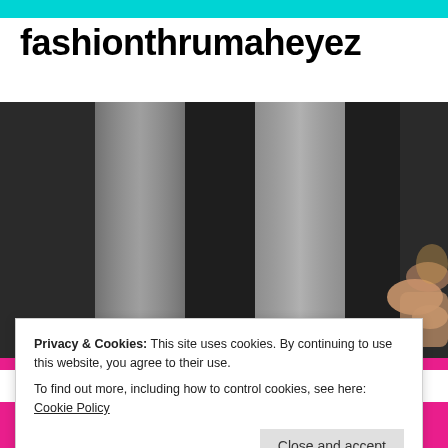fashionthrumaheyez
[Figure (photo): Dark background with vertical panel columns in black and silver/white tones, with a blurred figure of a person with blonde hair at the right side]
Privacy & Cookies: This site uses cookies. By continuing to use this website, you agree to their use.
To find out more, including how to control cookies, see here: Cookie Policy
Close and accept
my comfort zone